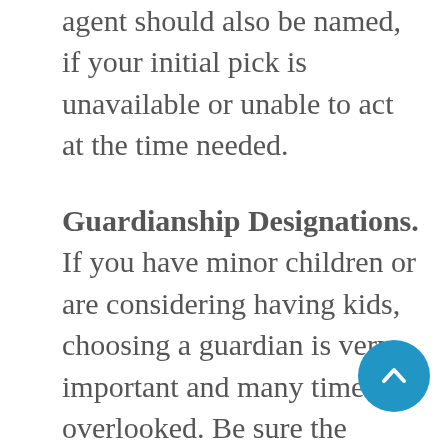agent should also be named, if your initial pick is unavailable or unable to act at the time needed.
Guardianship Designations. If you have minor children or are considering having kids, choosing a guardian is very important and many times is overlooked. Be sure the individual or couple you choose shares your views, is financially sound and is willing to rear your children. You should also add a contingent guardian as well. Without these designations, a judge could rule that your kids should live with a family member you wouldn't have wanted, and in some cases, the court could require that your children become wards of the state.